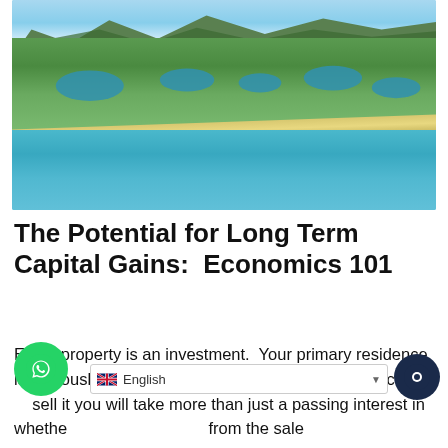[Figure (photo): Aerial photograph of a coastal resort area with lush green landscape, multiple ponds and lakes, sandy beach, and turquoise ocean water, with mountains in the background under a blue sky.]
The Potential for Long Term Capital Gains:  Economics 101
Every property is an investment.  Your primary residence is obviously the roof over your head, but when you come to sell it you will take more than just a passing interest in whether you make a profit from the sale